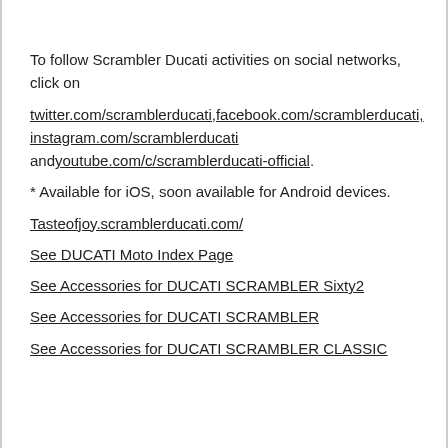To follow Scrambler Ducati activities on social networks, click on
twitter.com/scramblerducati,facebook.com/scramblerducati, instagram.com/scramblerducati andyoutube.com/c/scramblerducati-official.
* Available for iOS, soon available for Android devices.
Tasteofjoy.scramblerducati.com/
See DUCATI Moto Index Page
See Accessories for DUCATI SCRAMBLER Sixty2
See Accessories for DUCATI SCRAMBLER
See Accessories for DUCATI SCRAMBLER CLASSIC